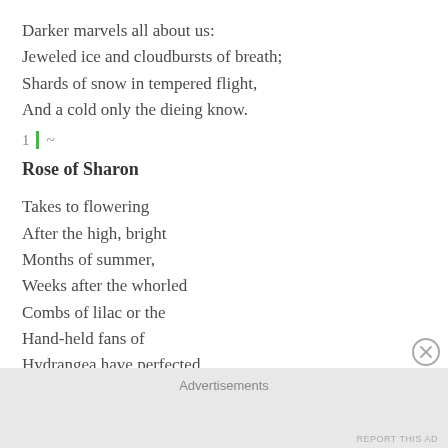Darker marvels all about us:
Jeweled ice and cloudbursts of breath;
Shards of snow in tempered flight,
And a cold only the dieing know.
1 | ~
Rose of Sharon
Takes to flowering
After the high, bright
Months of summer,
Weeks after the whorled
Combs of lilac or the
Hand-held fans of
Hydrangea have perfected
The art of languor.
Harder, nearer to
Advertisements